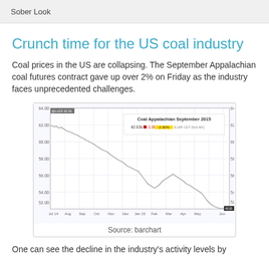Sober Look
Crunch time for the US coal industry
Coal prices in the US are collapsing. The September Appalachian coal futures contract gave up over 2% on Friday as the industry faces unprecedented challenges.
[Figure (continuous-plot): Line chart showing Coal Appalachian September 2015 futures price declining from around 62 in Jul 14 to about 44 in Jun, with label showing 42.63s, -1.00, -2.30%. X-axis: Jul 14, Aug, Sep, Oct, Nov, Dec, Jan 15, Feb, Mar, Apr, May, Jun. Y-axis: 44 to 64.]
Source: barchart
One can see the decline in the industry's activity levels by